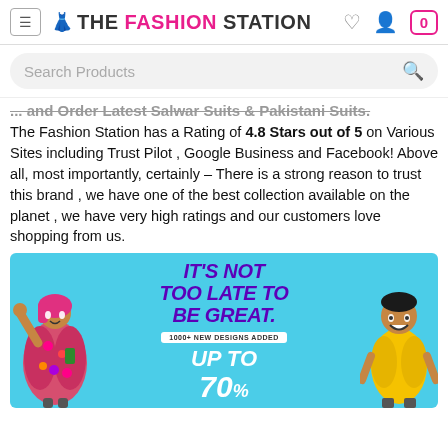THE FASHION STATION
Search Products
... and more. Latest Salwar Suits & Pakistani Suits.
The Fashion Station has a Rating of 4.8 Stars out of 5 on Various Sites including Trust Pilot , Google Business and Facebook! Above all, most importantly, certainly – There is a strong reason to trust this brand , we have one of the best collection available on the planet , we have very high ratings and our customers love shopping from us.
[Figure (illustration): Promotional banner with light blue background showing two people (woman in floral outfit raising fist, man in yellow shirt) with bold purple italic text reading IT'S NOT TOO LATE TO BE GREAT. and a white tag reading 1000+ NEW DESIGNS ADDED and partial text UP TO 70%]